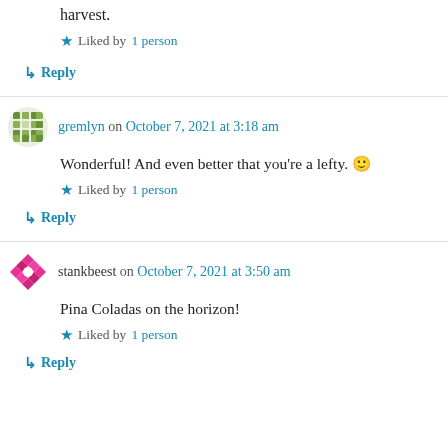harvest.
Liked by 1 person
↳ Reply
gremlyn on October 7, 2021 at 3:18 am
Wonderful! And even better that you're a lefty. 🙂
Liked by 1 person
↳ Reply
stankbeest on October 7, 2021 at 3:50 am
Pina Coladas on the horizon!
Liked by 1 person
↳ Reply